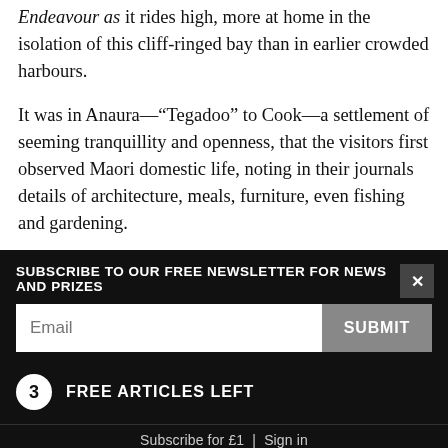Endeavour as it rides high, more at home in the isolation of this cliff-ringed bay than in earlier crowded harbours.
It was in Anaura—"Tegadoo" to Cook—a settlement of seeming tranquillity and openness, that the visitors first observed Maori domestic life, noting in their journals details of architecture, meals, furniture, even fishing and gardening.
Jonathan Monkhouse found their cultivations, about 200 acres in all, "very far to surpass any idea we
SUBSCRIBE TO OUR FREE NEWSLETTER FOR NEWS AND PRIZES
Email
SUBMIT
3 FREE ARTICLES LEFT
Subscribe for £1 | Sign in